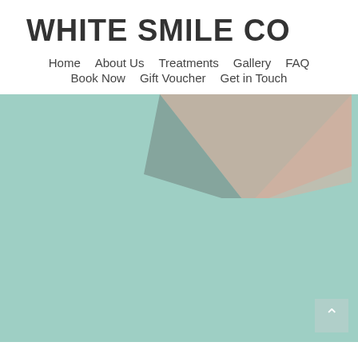WHITE SMILE CO
Home   About Us   Treatments   Gallery   FAQ   Book Now   Gift Voucher   Get in Touch
[Figure (photo): Teal/mint colored background with a partially visible person's face/chin area at the top center, forming a triangular compositional shape. A back-to-top button (upward arrow) is visible in the bottom right corner.]